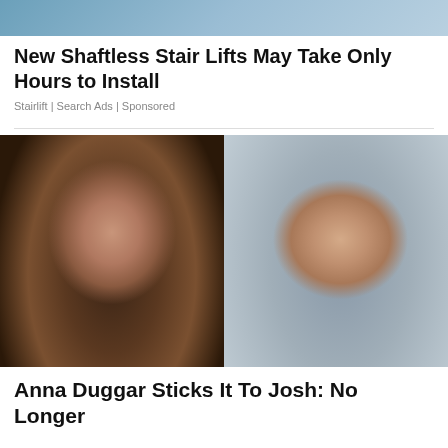[Figure (photo): Partial top image, likely a stair lift advertisement image cropped at top]
New Shaftless Stair Lifts May Take Only Hours to Install
Stairlift | Search Ads | Sponsored
[Figure (photo): Side-by-side photos: woman with dark hair on left, man with short dark hair and stubble on right (Anna Duggar and Josh Duggar)]
Anna Duggar Sticks It To Josh: No Longer